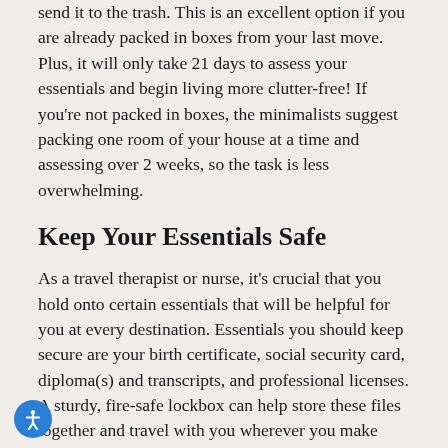send it to the trash. This is an excellent option if you are already packed in boxes from your last move. Plus, it will only take 21 days to assess your essentials and begin living more clutter-free! If you're not packed in boxes, the minimalists suggest packing one room of your house at a time and assessing over 2 weeks, so the task is less overwhelming.
Keep Your Essentials Safe
As a travel therapist or nurse, it's crucial that you hold onto certain essentials that will be helpful for you at every destination. Essentials you should keep secure are your birth certificate, social security card, diploma(s) and transcripts, and professional licenses. A sturdy, fire-safe lockbox can help store these files together and travel with you wherever you make your next home. Another simple item to hold on to when decluttering for a move is a laundry basket. You may need to use laundromats in locations that do not have a washing machine and dryer in your home. You can also pack belongings in laundry baskets to save money on purchasing boxes and to save